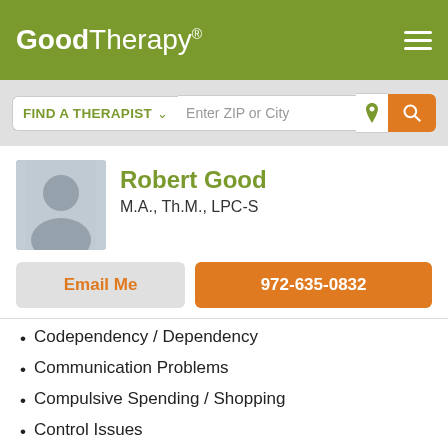GoodTherapy®
FIND A THERAPIST  ∨  Enter ZIP or City
Robert Good
M.A., Th.M., LPC-S
Email Me
972-635-0832
Codependency / Dependency
Communication Problems
Compulsive Spending / Shopping
Control Issues
GoodTherapy uses cookies to personalize content and ads to provide better services for our users and to analyze our traffic. By continuing to use this site you consent to our cookies.